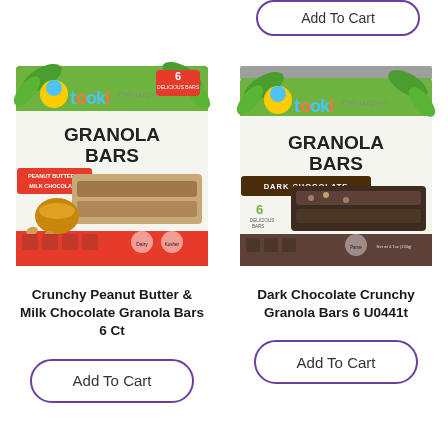[Figure (screenshot): Add To Cart button (top right, partially cropped)]
[Figure (photo): Tooki Crunchy Granola Bars - Peanut Butter & Milk Chocolate product box]
[Figure (photo): Tooki Crunchy Granola Bars - Dark Chocolate product box]
Crunchy Peanut Butter & Milk Chocolate Granola Bars 6 Ct
Dark Chocolate Crunchy Granola Bars 6 U0441t
Add To Cart
Add To Cart